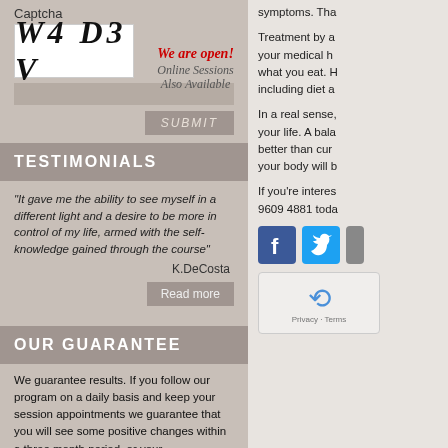Captcha
[Figure (other): Captcha image showing characters: W4 D3 V in italic serif font]
We are open! Online Sessions Also Available
TESTIMONIALS
"It gave me the ability to see myself in a different light and a desire to be more in control of my life, armed with the self-knowledge gained through the course"
K.DeCosta
OUR GUARANTEE
We guarantee results. If you follow our program on a daily basis and keep your session appointments we guarantee that you will see some positive changes within a three month period, or your
symptoms. Tha
Treatment by a your medical h what you eat. H including diet a
In a real sense, your life. A bala better than cur your body will b
If you're interes 9609 4881 toda
[Figure (other): Facebook icon (blue square with f)]
[Figure (other): Twitter icon (blue square with bird)]
[Figure (other): reCAPTCHA widget with recycling arrow icon and Privacy/Terms text]